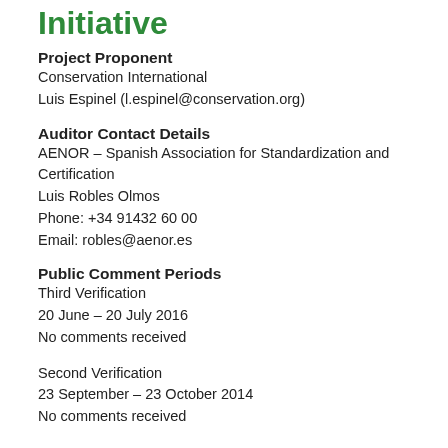Initiative
Project Proponent
Conservation International
Luis Espinel (l.espinel@conservation.org)
Auditor Contact Details
AENOR – Spanish Association for Standardization and Certification
Luis Robles Olmos
Phone: +34 91432 60 00
Email: robles@aenor.es
Public Comment Periods
Third Verification
20 June – 20 July 2016
No comments received
Second Verification
23 September – 23 October 2014
No comments received